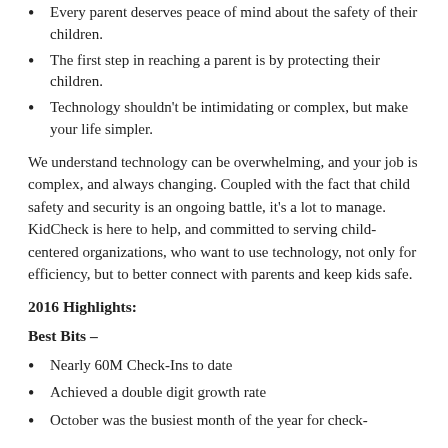Every parent deserves peace of mind about the safety of their children.
The first step in reaching a parent is by protecting their children.
Technology shouldn't be intimidating or complex, but make your life simpler.
We understand technology can be overwhelming, and your job is complex, and always changing. Coupled with the fact that child safety and security is an ongoing battle, it's a lot to manage. KidCheck is here to help, and committed to serving child-centered organizations, who want to use technology, not only for efficiency, but to better connect with parents and keep kids safe.
2016 Highlights:
Best Bits –
Nearly 60M Check-Ins to date
Achieved a double digit growth rate
October was the busiest month of the year for check-